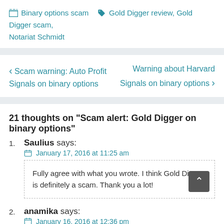📁 Binary options scam 🏷 Gold Digger review, Gold Digger scam, Notariat Schmidt
< Scam warning: Auto Profit Signals on binary options | Warning about Harvard Signals on binary options >
21 thoughts on "Scam alert: Gold Digger on binary options"
1. Saulius says: January 17, 2016 at 11:25 am — Fully agree with what you wrote. I think Gold Digger is definitely a scam. Thank you a lot!
2. anamika says: January 16, 2016 at 12:36 pm